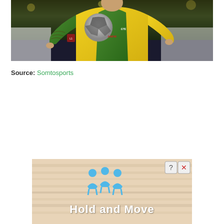[Figure (photo): Soccer player in yellow and green FC Nantes jersey holding a football, with tattooed arms visible, Ligue 1 logo on sleeve, stadium crowd visible in background]
Source: Somtosports
[Figure (screenshot): Advertisement banner showing 'Hold and Move' text with blue people icons and a question mark and X button in top right corner]